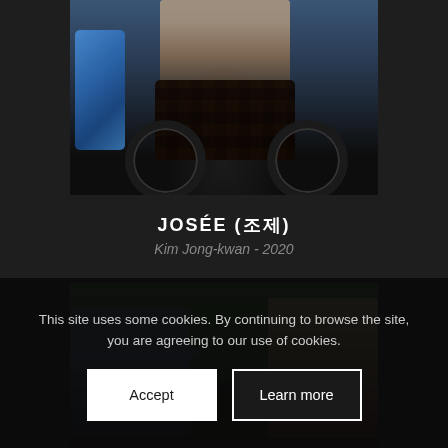[Figure (photo): A person in a wheelchair covered with a crocheted blanket, surrounded by people and colorful bags in what appears to be an outdoor scene. Blue patterned bags visible on the left.]
JOSÉE (조제)
Kim Jong-kwan - 2020
[Figure (photo): Two people close up: a person wearing a hat on the left and a woman with long hair on the right, with green foliage in the background.]
This site uses some cookies. By continuing to browse the site, you are agreeing to our use of cookies.
Accept
Learn more